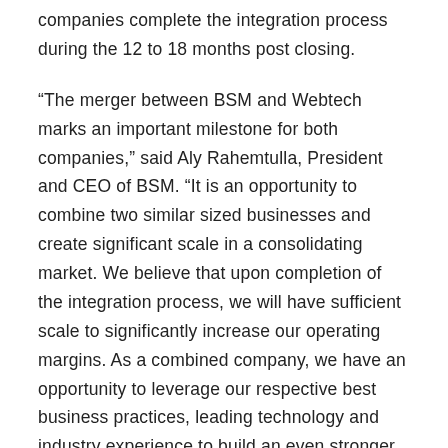companies complete the integration process during the 12 to 18 months post closing.
“The merger between BSM and Webtech marks an important milestone for both companies,” said Aly Rahemtulla, President and CEO of BSM. “It is an opportunity to combine two similar sized businesses and create significant scale in a consolidating market. We believe that upon completion of the integration process, we will have sufficient scale to significantly increase our operating margins. As a combined company, we have an opportunity to leverage our respective best business practices, leading technology and industry experience to build an even stronger organization. We are very excited about the potential to deliver accelerated growth, unlock financial leverage and